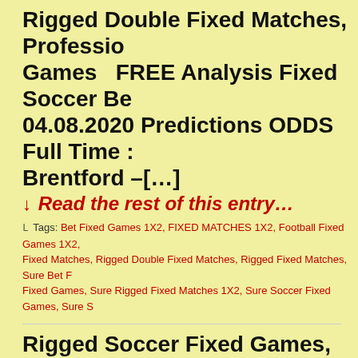Rigged Double Fixed Matches, Professional Games  FREE Analysis Fixed Soccer Bet 04.08.2020 Predictions ODDS Full Time : Brentford –[…]
↓ Read the rest of this entry…
Tags: Bet Fixed Games 1X2, FIXED MATCHES 1X2, Football Fixed Games 1X2, Fixed Matches, Rigged Double Fixed Matches, Rigged Fixed Matches, Sure Bet Fixed Games, Sure Rigged Fixed Matches 1X2, Sure Soccer Fixed Games, Sure S
Rigged Soccer Fixed Games, Professional Predictions  FREE Analysis Fixed Soccer Matches 03.08.2020 Predictions ODDS F ?:? 18:00h Sandnes[…]
↓ Read the rest of this entry…
Tags: Bet Fixed Games 1X2, Betting Fixed Games 1X2, Double Soccer Fixed Pr Fixed Matches, Professional Soccer Fixed Games, Rigged Soccer Fixed Games, S Gamble Fixed Games, Sure Professional Fixed Games, Sure Rigged Fixed Matche
Double Sure Fixed Matches 1X2, Best To Matches 1X2   Date Match Pick Odds Fi